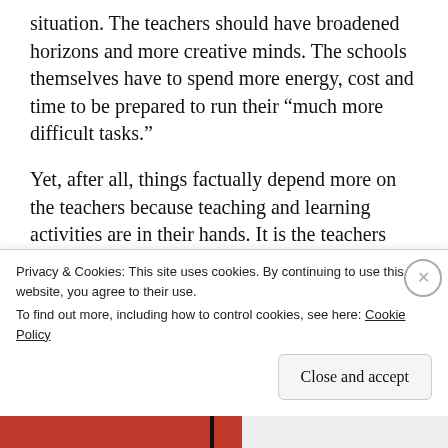situation. The teachers should have broadened horizons and more creative minds. The schools themselves have to spend more energy, cost and time to be prepared to run their "much more difficult tasks."
Yet, after all, things factually depend more on the teachers because teaching and learning activities are in their hands. It is the teachers who are with the children during the school hours, not the principals or the district supervisors or others.
Privacy & Cookies: This site uses cookies. By continuing to use this website, you agree to their use.
To find out more, including how to control cookies, see here: Cookie Policy

Close and accept